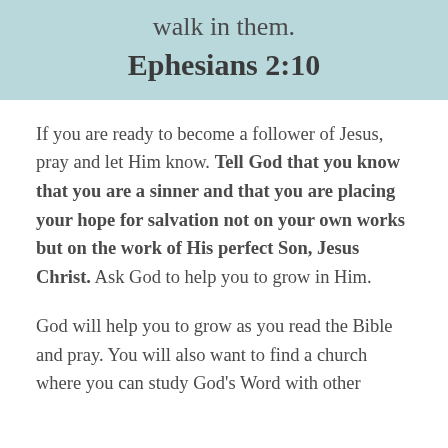walk in them. Ephesians 2:10
If you are ready to become a follower of Jesus, pray and let Him know. Tell God that you know that you are a sinner and that you are placing your hope for salvation not on your own works but on the work of His perfect Son, Jesus Christ. Ask God to help you to grow in Him.
God will help you to grow as you read the Bible and pray. You will also want to find a church where you can study God's Word with other